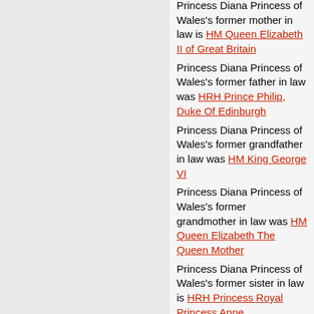Princess Diana Princess of Wales's former mother in law is HM Queen Elizabeth II of Great Britain
Princess Diana Princess of Wales's former father in law was HRH Prince Philip, Duke Of Edinburgh
Princess Diana Princess of Wales's former grandfather in law was HM King George VI
Princess Diana Princess of Wales's former grandmother in law was HM Queen Elizabeth The Queen Mother
Princess Diana Princess of Wales's former sister in law is HRH Princess Royal Princess Anne
Princess Diana Princess of Wales's former brother in law is Prince Andrew,
Princess Diana Princess of Wales's former brother in law is HRH Prince Edward Earl Of Wessex
Princess Diana Princess of Wales's former husband Prince Charles The Prince Of Wales's aunt in law